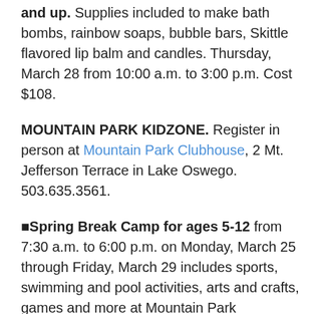and up. Supplies included to make bath bombs, rainbow soaps, bubble bars, Skittle flavored lip balm and candles. Thursday, March 28 from 10:00 a.m. to 3:00 p.m. Cost $108.
MOUNTAIN PARK KIDZONE. Register in person at Mountain Park Clubhouse, 2 Mt. Jefferson Terrace in Lake Oswego. 503.635.3561.
■Spring Break Camp for ages 5-12 from 7:30 a.m. to 6:00 p.m. on Monday, March 25 through Friday, March 29 includes sports, swimming and pool activities, arts and crafts, games and more at Mountain Park Clubhouse, Mt. Jefferson Terrace. Full Week Fee: $250/ Mt. Park members; $325/non-members ($50 discount for siblings). Full Day Fee: $55/members; $75/non-members ($5 sibling discount). Register at front desk. Call for information: